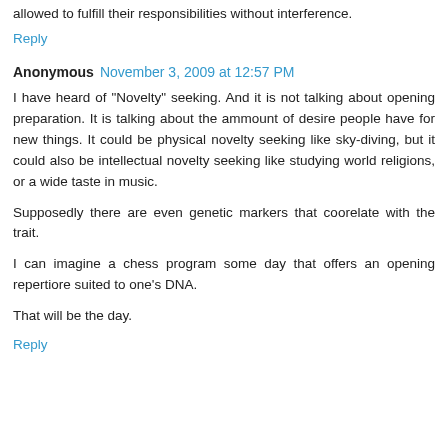allowed to fulfill their responsibilities without interference.
Reply
Anonymous  November 3, 2009 at 12:57 PM
I have heard of "Novelty" seeking. And it is not talking about opening preparation. It is talking about the ammount of desire people have for new things. It could be physical novelty seeking like sky-diving, but it could also be intellectual novelty seeking like studying world religions, or a wide taste in music.
Supposedly there are even genetic markers that coorelate with the trait.
I can imagine a chess program some day that offers an opening repertiore suited to one's DNA.
That will be the day.
Reply